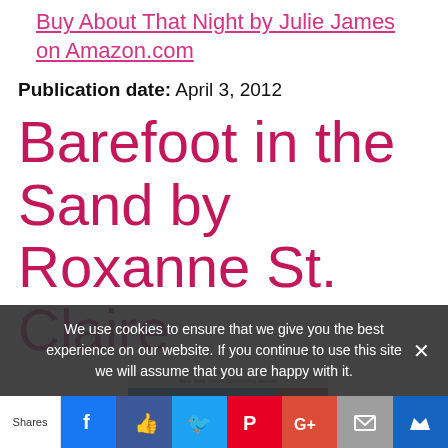Buy About That Night by Julie James on Amazon.com
Publication date: April 3, 2012
Barefoot in the Sand by Roxanne St. Claire
[Figure (photo): Book cover of Barefoot in the Sand by Roxanne St. Claire, New York Times Bestselling Author, showing author name in large blue and yellow text on a colorful background]
We use cookies to ensure that we give you the best experience on our website. If you continue to use this site we will assume that you are happy with it.
Shares | Facebook | Like | Twitter | Pinterest | Google+ | Mail | Crown